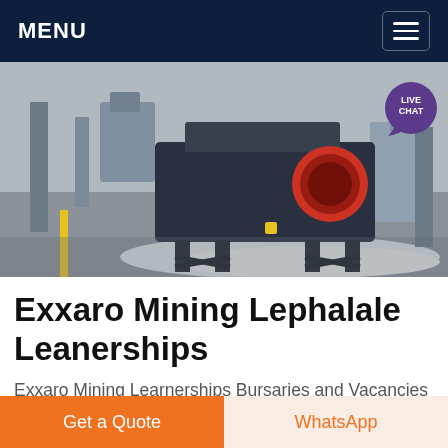MENU
[Figure (photo): Industrial mining machinery — a large metal industrial crusher/shredder on a factory floor surrounded by pellets/gravel, with structural steel columns in background]
Exxaro Mining Lephalale Leanerships
Exxaro Mining Learnerships Bursaries and Vacancies have been announced previously and a lot of students have joined the training programmes 2014 to get experience